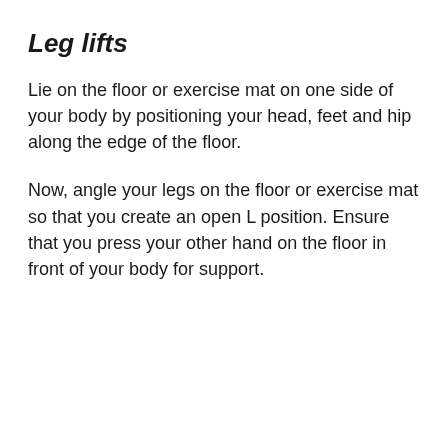Leg lifts
Lie on the floor or exercise mat on one side of your body by positioning your head, feet and hip along the edge of the floor.
Now, angle your legs on the floor or exercise mat so that you create an open L position. Ensure that you press your other hand on the floor in front of your body for support.